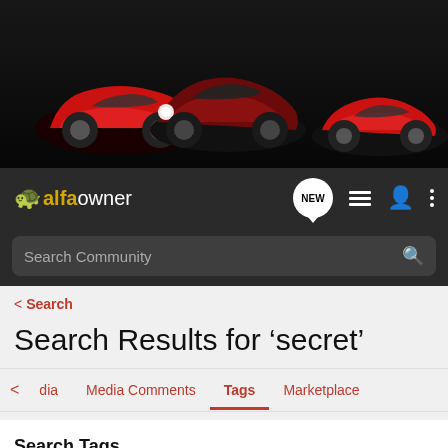[Figure (photo): Banner showing three red Alfa Romeo cars against dark background]
alfaowner — NEW — navigation icons
Search Community
< Search
Search Results for ‘secret’
< dia   Media Comments   Tags   Marketplace
Search Tags
× secret   Search